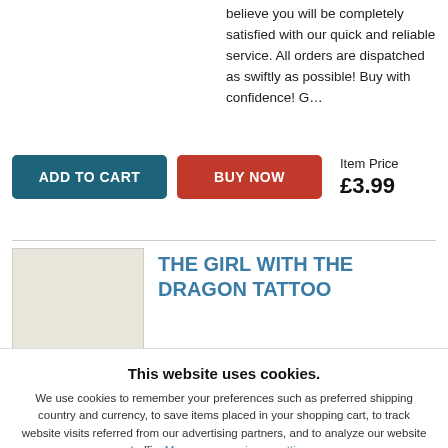believe you will be completely satisfied with our quick and reliable service. All orders are dispatched as swiftly as possible! Buy with confidence! G…
ADD TO CART  BUY NOW  Item Price £3.99
THE GIRL WITH THE DRAGON TATTOO
This website uses cookies.
We use cookies to remember your preferences such as preferred shipping country and currency, to save items placed in your shopping cart, to track website visits referred from our advertising partners, and to analyze our website traffic. Manage your privacy settings.
AGREE AND CLOSE